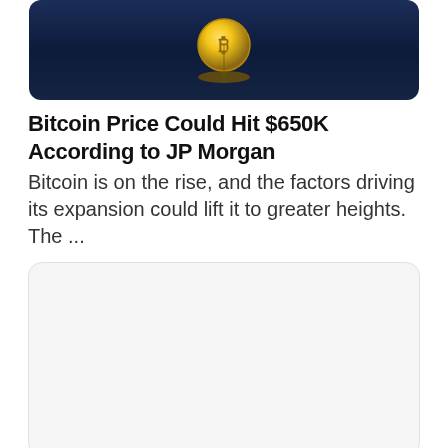[Figure (photo): Bitcoin gold coin on a dark navy/blue background, partially cropped at top]
Bitcoin Price Could Hit $650K According to JP Morgan
Bitcoin is on the rise, and the factors driving its expansion could lift it to greater heights. The ...
[Figure (photo): White/blank image placeholder for second article]
Is Messi Getting Paid in Crypto?
Lionel Messi, one of the world's most